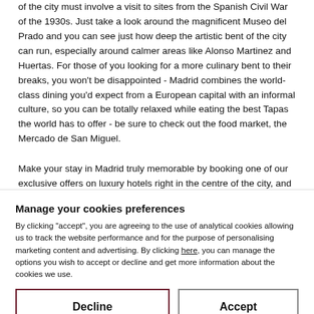of the city must involve a visit to sites from the Spanish Civil War of the 1930s. Just take a look around the magnificent Museo del Prado and you can see just how deep the artistic bent of the city can run, especially around calmer areas like Alonso Martinez and Huertas. For those of you looking for a more culinary bent to their breaks, you won't be disappointed - Madrid combines the world-class dining you'd expect from a European capital with an informal culture, so you can be totally relaxed while eating the best Tapas the world has to offer - be sure to check out the food market, the Mercado de San Miguel.
Make your stay in Madrid truly memorable by booking one of our exclusive offers on luxury hotels right in the centre of the city, and get the most from your experience in the Spanish capital.
Manage your cookies preferences
By clicking "accept", you are agreeing to the use of analytical cookies allowing us to track the website performance and for the purpose of personalising marketing content and advertising. By clicking here, you can manage the options you wish to accept or decline and get more information about the cookies we use.